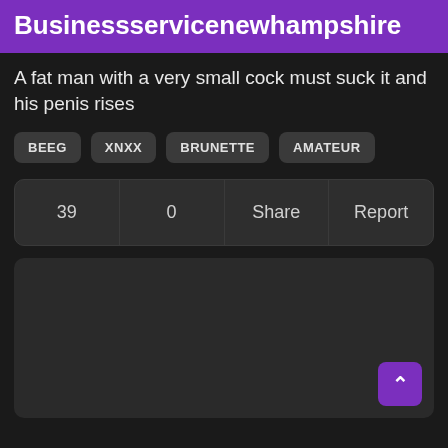Businessservicenewhampshire
A fat man with a very small cock must suck it and his penis rises
BEEG
XNXX
BRUNETTE
AMATEUR
| 39 | 0 | Share | Report |
| --- | --- | --- | --- |
[Figure (other): Dark media/video placeholder box with a back-to-top button in the bottom right corner]